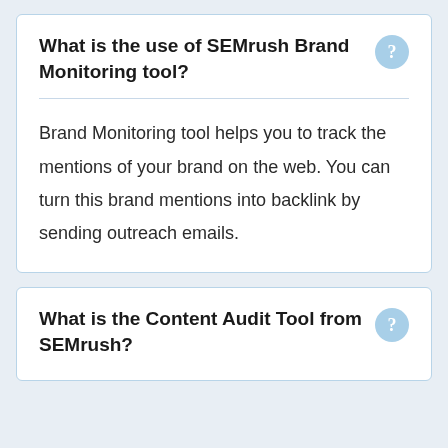What is the use of SEMrush Brand Monitoring tool?
Brand Monitoring tool helps you to track the mentions of your brand on the web. You can turn this brand mentions into backlink by sending outreach emails.
What is the Content Audit Tool from SEMrush?